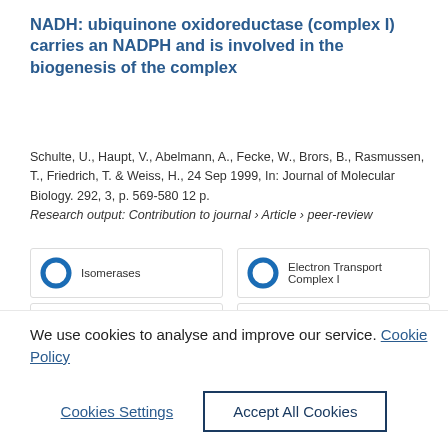NADH: ubiquinone oxidoreductase (complex I) carries an NADPH and is involved in the biogenesis of the complex
Schulte, U., Haupt, V., Abelmann, A., Fecke, W., Brors, B., Rasmussen, T., Friedrich, T. & Weiss, H., 24 Sep 1999, In: Journal of Molecular Biology. 292, 3, p. 569-580 12 p.
Research output: Contribution to journal › Article › peer-review
[Figure (infographic): Five fingerprint/keyword badges arranged in a 2-column grid: Isomerases (100%), Electron Transport Complex I (100%), NADP (75%), Oxidation-Reduction (65%), Oxidoreductases (60%). Each badge shows a donut-style icon filled proportionally and a label.]
We use cookies to analyse and improve our service. Cookie Policy
Cookies Settings    Accept All Cookies